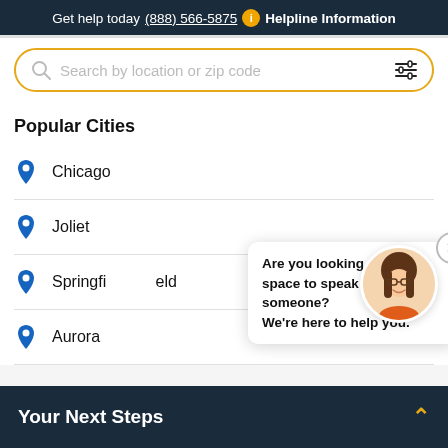Get help today (888) 566-5875 i Helpline Information
[Figure (screenshot): Search bar with orange border, search icon on left, placeholder text 'Search by location or zip code', filter icon on right]
Popular Cities
Chicago
Joliet
Springfield
Aurora
Are you looking for a safe space to speak to someone? We're here to help you.
Your Next Steps